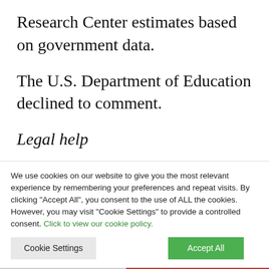Research Center estimates based on government data.
The U.S. Department of Education declined to comment.
Legal help
We use cookies on our website to give you the most relevant experience by remembering your preferences and repeat visits. By clicking “Accept All”, you consent to the use of ALL the cookies. However, you may visit “Cookie Settings” to provide a controlled consent. Click to view our cookie policy.
Cookie Settings
Accept All
[Figure (other): Vamousse advertisement banner. Left side gray background with red Vamousse logo and vamousse.com URL. Right side red background with white text: LEAVE-IN SPRAY REPELS LICE FROM HAIR. Find us in stores nationwide and online.]